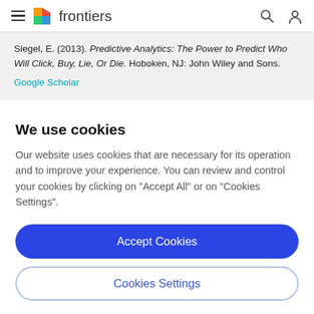frontiers
Siegel, E. (2013). Predictive Analytics: The Power to Predict Who Will Click, Buy, Lie, Or Die. Hoboken, NJ: John Wiley and Sons.
Google Scholar
We use cookies
Our website uses cookies that are necessary for its operation and to improve your experience. You can review and control your cookies by clicking on "Accept All" or on "Cookies Settings".
Accept Cookies
Cookies Settings